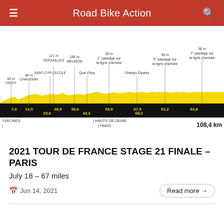Road Bike Action
[Figure (infographic): Tour de France Stage 21 elevation profile showing route from Chatou to Champs-Élysées with distance markers and location annotations. Black bar with yellow distance values (7.4, 14.5, 23.6, 28.9, 36.6, 42.3, 53.9, 67.5, 68.3, 81.2, 94.8). Location annotations include: 60m OISSY, 80m CHAVENAY, SAINT-CYR-L'ECOLE, 121m VERSAILLES, Quai d'Issy, 166m MEUDON, 38m 1° passage sur la ligne d'arrivée, Champs-Élysées, 38m 5° passage sur la ligne d'arrivée, 38m 7° passage sur la ligne d'arrivée. Bottom labels: YVELINES, HAUTS-DE-SEINE, PARIS, 108,4 km]
2021 TOUR DE FRANCE STAGE 21 FINALE – PARIS
July 18 – 67 miles
Jun 14, 2021